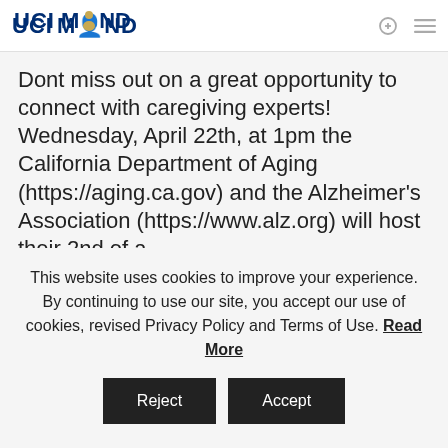UCI MIND
Dont miss out on a great opportunity to connect with caregiving experts! Wednesday, April 22th, at 1pm the California Department of Aging (https://aging.ca.gov) and the Alzheimer's Association (https://www.alz.org) will host their 2nd of a…
Read More
This website uses cookies to improve your experience. By continuing to use our site, you accept our use of cookies, revised Privacy Policy and Terms of Use. Read More
Reject
Accept